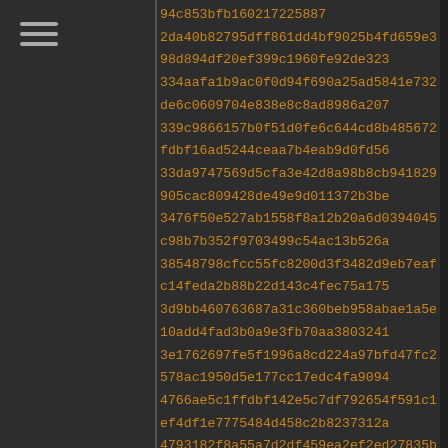[Figure (other): Sidebar with hamburger menu icon (three horizontal lines) on dark background with vertical divider]
94c853bfb160217225887
2da40b82795dff861dd4bf9025b4fd659e398d894df20ef399c1960fe92de323
334aafa1b9ac0f0d94f690a25ad5841e732de6c0609704e838e8c8ad8986a207
339c9866157b0f51d0fe6c644cd8b485672fdbf16ad5244ceaa7b4eab9d0fd56
33da9747569d5cfa3e42d8a98b8cb941829905cac809428de49e9d011372b3be
3476f50e527ab1558f8a12b20a6d0394045c98b7b352f9703499c54ac13b526a
38548798cfcc55fc8200d3f3482d9eb7eafc14feda2b88b22d143c4fec75a175
3d9bb460763687a31c360beb958abae1a5e10add4fad3b0a9e3fb70aa3803241
3e1762697fe5f1996a8cd224a97bfd47fc2578ac1950d5e177cc17edc4fa9094
4766ae5c1ffdbf142e5c7df792654f591c1ef4df1e7775484d458c2b8237312a
4793182f8a55a7d2df459ea2ef2ed27835bfe43648d